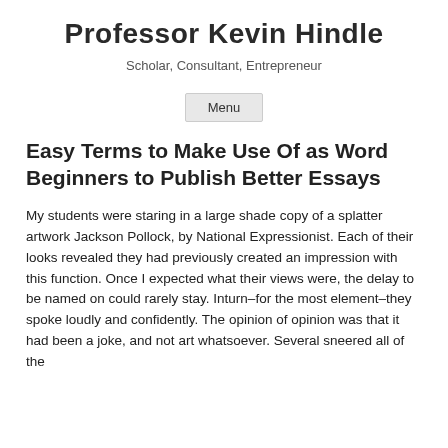Professor Kevin Hindle
Scholar, Consultant, Entrepreneur
Menu
Easy Terms to Make Use Of as Word Beginners to Publish Better Essays
My students were staring in a large shade copy of a splatter artwork Jackson Pollock, by National Expressionist. Each of their looks revealed they had previously created an impression with this function. Once I expected what their views were, the delay to be named on could rarely stay. Inturn–for the most element–they spoke loudly and confidently. The opinion of opinion was that it had been a joke, and not art whatsoever. Several sneered all of the